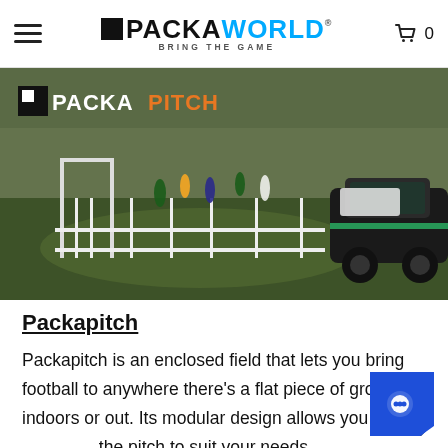PACKAWORLD BRING THE GAME
[Figure (photo): Outdoor football event on grass field with white modular fencing/pitch structure and a dark car on the right side. PACKAPITCH logo overlaid top-left (black square + PACKA in white, PITCH in orange).]
Packapitch
Packapitch is an enclosed field that lets you bring football to anywhere there's a flat piece of ground, indoors or out. Its modular design allows you to the pitch to suit your needs.